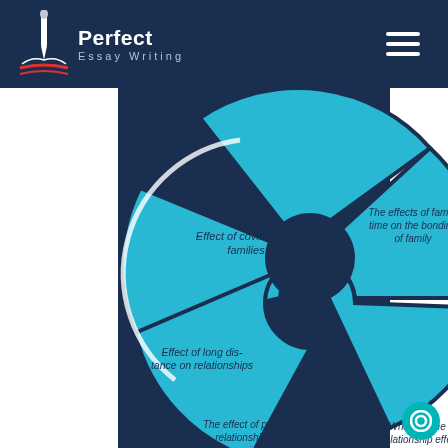[Figure (logo): Perfect Essay Writing logo with pen/quill icon and red underline]
[Figure (infographic): Donut/fan chart showing essay topics: 'Effect of covid-19 on families', 'The effects of family time on the bonding of family', 'Effect of long distance on relationships', 'The effect of pre-marital relationship on the marriage life', 'What are the Toxic relationship effects on mental health?']